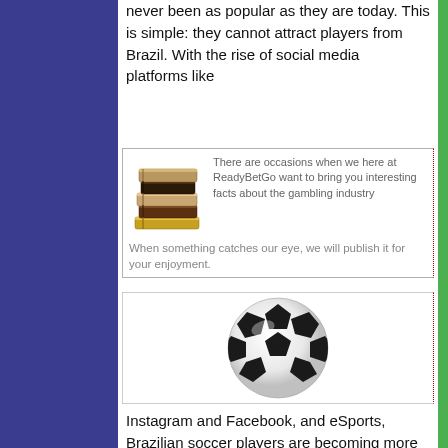never been as popular as they are today. This is simple: they cannot attract players from Brazil. With the rise of social media   platforms like
[Figure (illustration): Stack of books illustration next to a grey text box about ReadyBetGo gambling industry facts]
There are occasions when we here at ReadyBetGo want to bring you interesting facts about the gambling industry When something catches our eye, we will publish it for your enjoyment.
[Figure (photo): A black and white soccer ball on a white background]
Instagram and Facebook, and eSports, Brazilian soccer players are becoming more popular than